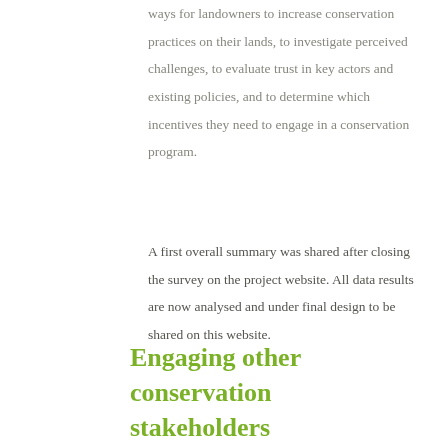ways for landowners to increase conservation practices on their lands, to investigate perceived challenges, to evaluate trust in key actors and existing policies, and to determine which incentives they need to engage in a conservation program.
A first overall summary was shared after closing the survey on the project website. All data results are now analysed and under final design to be shared on this website.
Engaging other conservation stakeholders